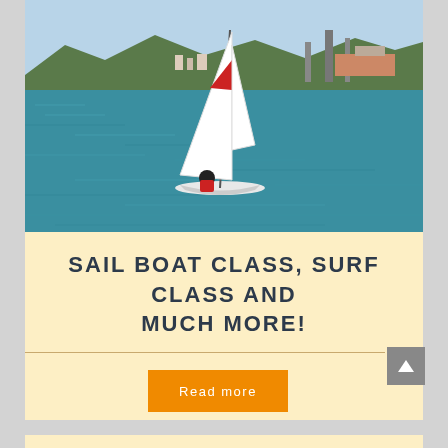[Figure (photo): A person in a red jacket sailing a small white sailboat on blue-green water, with mountains and an industrial port in the background under a blue sky.]
SAIL BOAT CLASS, SURF CLASS AND MUCH MORE!
Read more